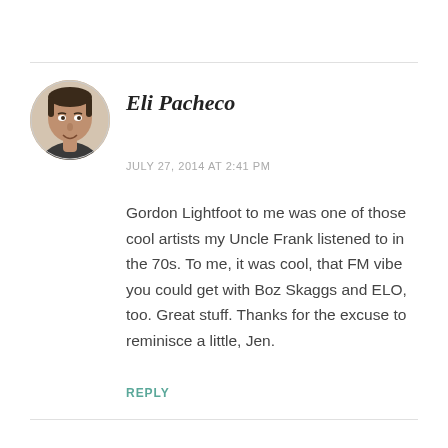[Figure (photo): Circular avatar photo of Eli Pacheco, a man with short dark hair, smiling, shown from shoulders up against a neutral background.]
Eli Pacheco
JULY 27, 2014 AT 2:41 PM
Gordon Lightfoot to me was one of those cool artists my Uncle Frank listened to in the 70s. To me, it was cool, that FM vibe you could get with Boz Skaggs and ELO, too. Great stuff. Thanks for the excuse to reminisce a little, Jen.
REPLY